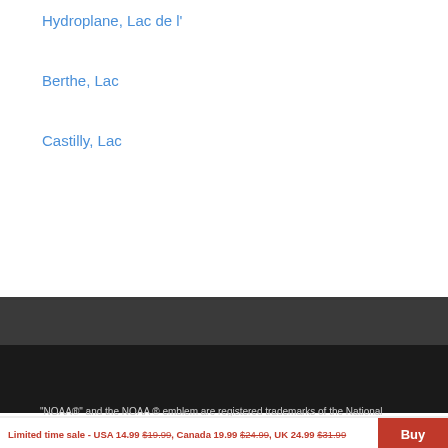Hydroplane, Lac de l'
Berthe, Lac
Castilly, Lac
[Figure (screenshot): Google search bar with 'ENHANCED BY Google' placeholder text and a blue search button with magnifying glass icon]
Copyright © 2009-2022 Bist LLC. All rights reserved. Terms Of Service - [Facebook icon] - [YouTube icon] - [Twitter icon] -Blog - Marine Leader Board
"NOAA®" and the NOAA ® emblem are registered trademarks of the National
Limited time sale - USA 14.99 $19.99, Canada 19.99 $24.99, UK 24.99 $31.99